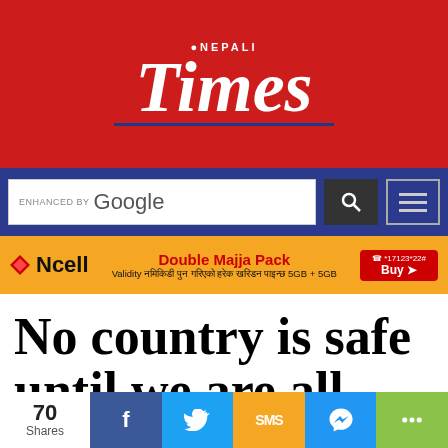[Figure (logo): Nepali Times logo on red background with italic serif Times text and blue underline]
[Figure (screenshot): Search bar with 'ENHANCED BY Google' text and search button, on dark blue background with hamburger menu icon]
[Figure (infographic): Ncell advertisement banner: Double Majja Pack, Validity नमिकिडी पुन गरिएको हरेक खरिडन पाइन्छ 5GB + 5GB, Buy button, phone number *17123*22#]
No country is safe until we are all safe
[Figure (infographic): Social share bar showing 70 Shares, Facebook, Twitter, SMS, Messenger, and more share buttons]